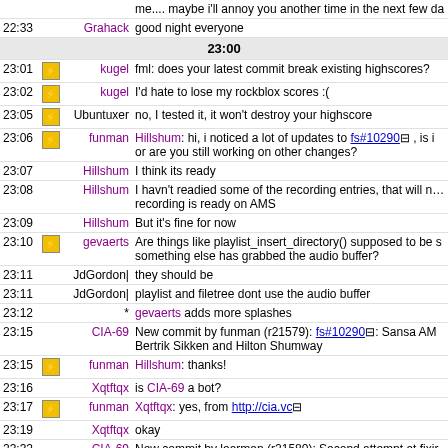| Time | Icon | Nick | Message |
| --- | --- | --- | --- |
|  |  |  | me.... maybe i'll annoy you another time in the next few da |
| 22:33 |  | Grahack | good night everyone |
|  |  | 23:00 |  |
| 23:01 | icon | kugel | fml: does your latest commit break existing highscores? |
| 23:02 | icon | kugel | I'd hate to lose my rockblox scores :( |
| 23:05 | icon | Ubuntuxer | no, I tested it, it won't destroy your highscore |
| 23:06 | icon | funman | Hillshum: hi, i noticed a lot of updates to fs#10290, is i or are you still working on other changes? |
| 23:07 |  | Hillshum | I think its ready |
| 23:08 |  | Hillshum | I havn't readied some of the recording entries, that will nee recording is ready on AMS |
| 23:09 |  | Hillshum | But it's fine for now |
| 23:10 | icon | gevaerts | Are things like playlist_insert_directory() supposed to be s something else has grabbed the audio buffer? |
| 23:11 |  | JdGordon| | they should be |
| 23:11 |  | JdGordon| | playlist and filetree dont use the audio buffer |
| 23:12 |  | * gevaerts | adds more splashes |
| 23:15 |  | CIA-69 | New commit by funman (r21579): fs#10290: Sansa AM Bertrik Sikken and Hilton Shumway |
| 23:15 | icon | funman | Hillshum: thanks! |
| 23:16 |  | Xqtftqx | is CIA-69 a bot? |
| 23:17 | icon | funman | Xqtftqx: yes, from http://cia.vc |
| 23:19 |  | Xqtftqx | okay |
| 23:32 |  | CIA-69 | New commit by learman (r21580): Second attempt at fixir |